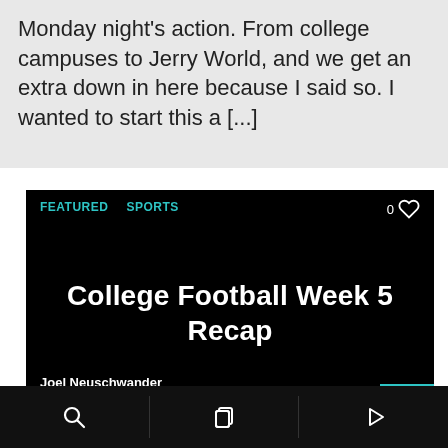Monday night's action. From college campuses to Jerry World, and we get an extra down in here because I said so. I wanted to start this a [...]
FEATURED   SPORTS
College Football Week 5 Recap
Joel Neuschwander
SEPTEMBER 30, 2019